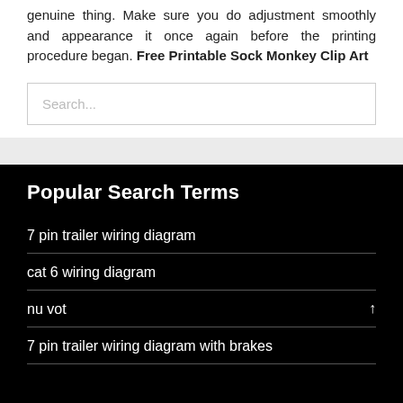genuine thing. Make sure you do adjustment smoothly and appearance it once again before the printing procedure began. Free Printable Sock Monkey Clip Art
Search...
Popular Search Terms
7 pin trailer wiring diagram
cat 6 wiring diagram
nu vot
7 pin trailer wiring diagram with brakes